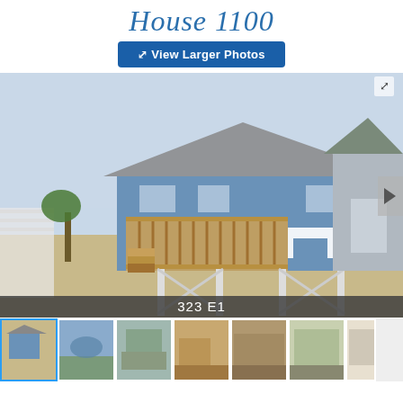House 1100
View Larger Photos
[Figure (photo): Exterior photo of a raised beach house (House 1100) on stilts with wooden deck, blue siding, gray roof; adjacent gray house visible to right; sandy lot; caption reads '323 E1']
[Figure (photo): Thumbnail row: exterior front view (selected, blue border), aerial/dock view, road/exterior view, interior living room, interior living room with TV, interior bedroom/view, interior kitchen]